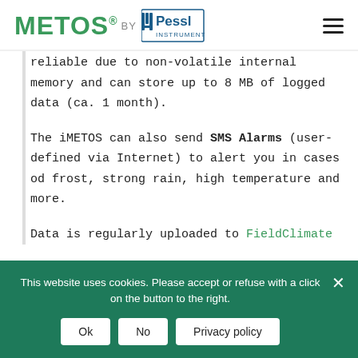METOS® BY Pessl Instruments
reliable due to non-volatile internal memory and can store up to 8 MB of logged data (ca. 1 month).
The iMETOS can also send SMS Alarms (user-defined via Internet) to alert you in cases od frost, strong rain, high temperature and more.
Data is regularly uploaded to FieldClimate
This website uses cookies. Please accept or refuse with a click on the button to the right. Ok No Privacy policy